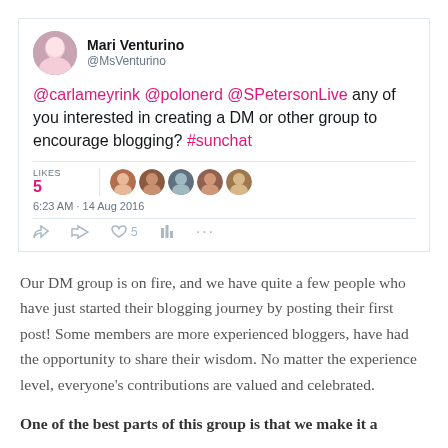[Figure (screenshot): Tweet by Mari Venturino (@MsVenturino) asking @carlameyrink @polonerd @SPetersonLive if any of them are interested in creating a DM or other group to encourage blogging? #sunchat. Shows 5 likes with avatars, timestamp 6:23 AM - 14 Aug 2016, and action icons.]
Our DM group is on fire, and we have quite a few people who have just started their blogging journey by posting their first post! Some members are more experienced bloggers, have had the opportunity to share their wisdom. No matter the experience level, everyone's contributions are valued and celebrated.
One of the best parts of this group is that we make it a